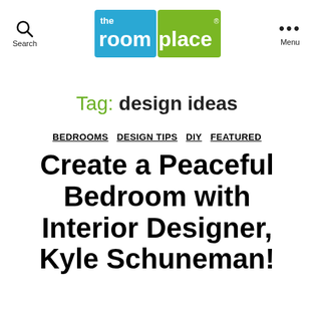the roomplace [logo] Search | Menu
Tag: design ideas
BEDROOMS  DESIGN TIPS  DIY  FEATURED
Create a Peaceful Bedroom with Interior Designer, Kyle Schuneman!